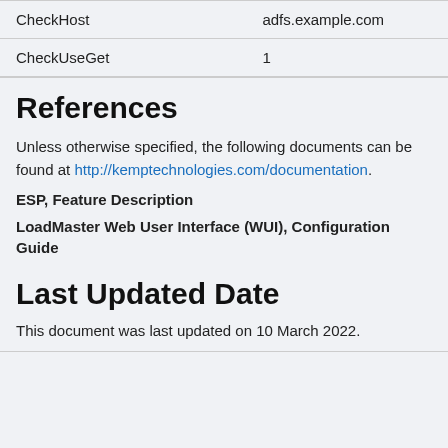| CheckHost | adfs.example.com |
| CheckUseGet | 1 |
References
Unless otherwise specified, the following documents can be found at http://kemptechnologies.com/documentation.
ESP, Feature Description
LoadMaster Web User Interface (WUI), Configuration Guide
Last Updated Date
This document was last updated on 10 March 2022.